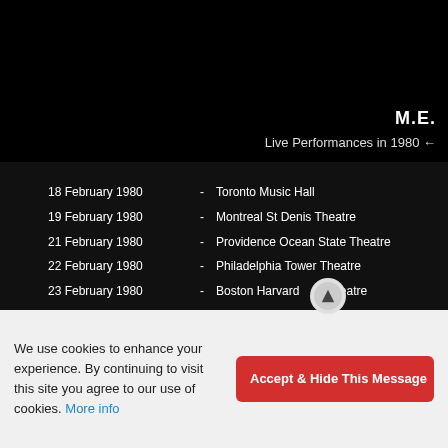M.E.
Live Performances in 1980
| Date |  | Venue |
| --- | --- | --- |
| 18 February 1980 | - | Toronto Music Hall |
| 19 February 1980 | - | Montreal St Denis Theatre |
| 21 February 1980 | - | Providence Ocean State Theatre |
| 22 February 1980 | - | Philadelphia Tower Theatre |
| 23 February 1980 | - | Boston Harvard Theatre |
| 24 February 1980 | - | New York Palladium |
We use cookies to enhance your experience. By continuing to visit this site you agree to our use of cookies. More info